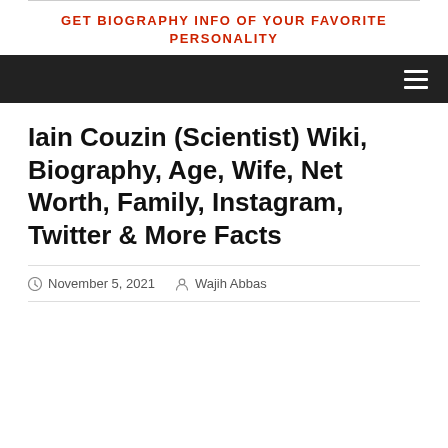GET BIOGRAPHY INFO OF YOUR FAVORITE PERSONALITY
Iain Couzin (Scientist) Wiki, Biography, Age, Wife, Net Worth, Family, Instagram, Twitter & More Facts
November 5, 2021  Wajih Abbas